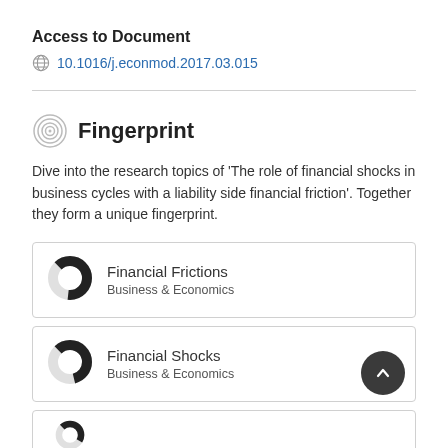Access to Document
10.1016/j.econmod.2017.03.015
Fingerprint
Dive into the research topics of 'The role of financial shocks in business cycles with a liability side financial friction'. Together they form a unique fingerprint.
Financial Frictions
Business & Economics
Financial Shocks
Business & Economics